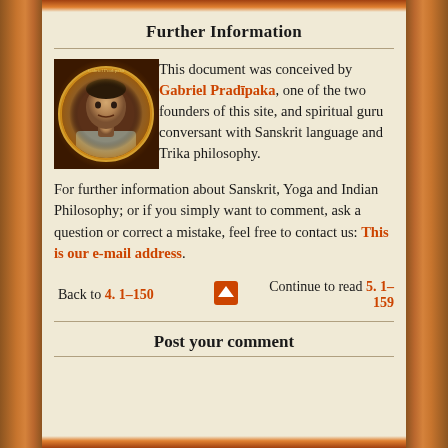Further Information
[Figure (photo): Circular portrait photo of Gabriel Pradipaka with decorative gold border on dark background]
This document was conceived by Gabriel Pradipaka, one of the two founders of this site, and spiritual guru conversant with Sanskrit language and Trika philosophy.
For further information about Sanskrit, Yoga and Indian Philosophy; or if you simply want to comment, ask a question or correct a mistake, feel free to contact us: This is our e-mail address.
Back to 4.1-150   [up arrow icon]   Continue to read 5.1-159
Post your comment